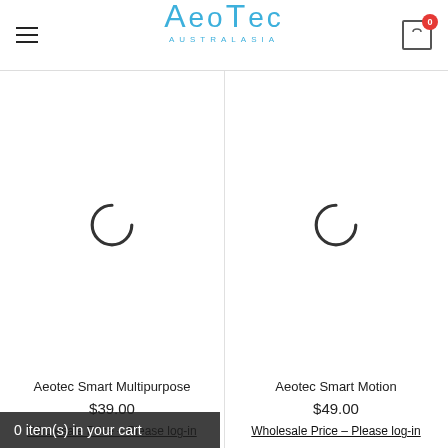Aeotec Australasia
[Figure (illustration): Loading spinner arc for Aeotec Smart Multipurpose product image]
Aeotec Smart Multipurpose
$39.00
Wholesale Price - Please log-in
[Figure (illustration): Loading spinner arc for Aeotec Smart Motion product image]
Aeotec Smart Motion
$49.00
Wholesale Price - Please log-in
0 item(s) in your cart